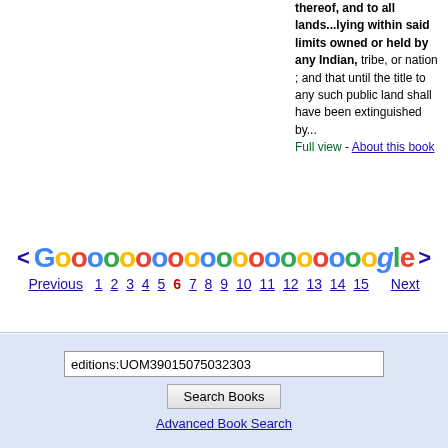thereof, and to all lands...lying within said limits owned or held by any Indian, tribe, or nation ; and that until the title to any such public land shall have been extinguished by... Full view - About this book
[Figure (other): Google pagination navigation with colored Google logo letters and page number links 1-15, with Previous and Next links]
editions:UOM39015075032303
Search Books
Advanced Book Search